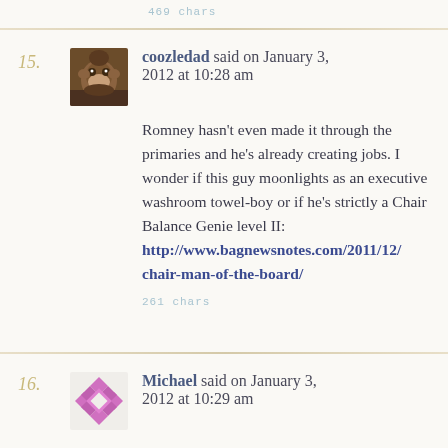469 chars
15. coozledad said on January 3, 2012 at 10:28 am
Romney hasn't even made it through the primaries and he's already creating jobs. I wonder if this guy moonlights as an executive washroom towel-boy or if he's strictly a Chair Balance Genie level II: http://www.bagnewsnotes.com/2011/12/chair-man-of-the-board/
261 chars
16. Michael said on January 3, 2012 at 10:29 am